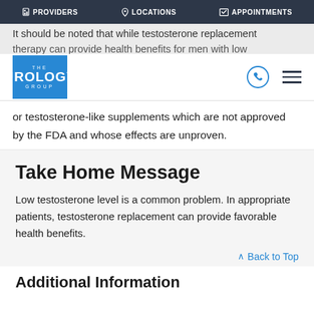PROVIDERS   LOCATIONS   APPOINTMENTS
It should be noted that while testosterone replacement therapy can provide health benefits for men with low
[Figure (logo): The Urology Group logo - blue square with white text showing THE UROLOGY GROUP]
or testosterone-like supplements which are not approved by the FDA and whose effects are unproven.
Take Home Message
Low testosterone level is a common problem. In appropriate patients, testosterone replacement can provide favorable health benefits.
Additional Information